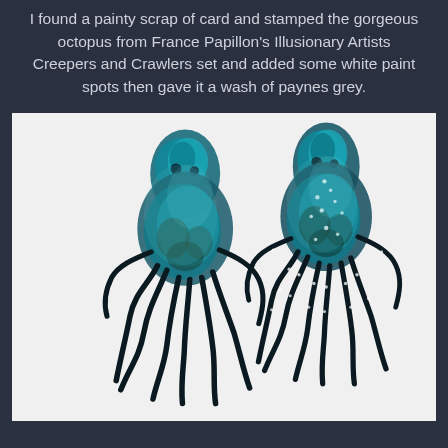I found a painty scrap of card and stamped the gorgeous octopus from France Papillon's Illusionary Artists Creepers and Crawlers set and added some white paint spots then gave it a wash of paynes grey.
[Figure (photo): Two handcrafted octopus figures on a white background. Both octopuses are dark teal/blue-green with iridescent shading and black outlines. The left octopus is plain stamped. The right octopus has white dotted paint spots along its tentacles and body. Both have curling tentacles extending downward.]